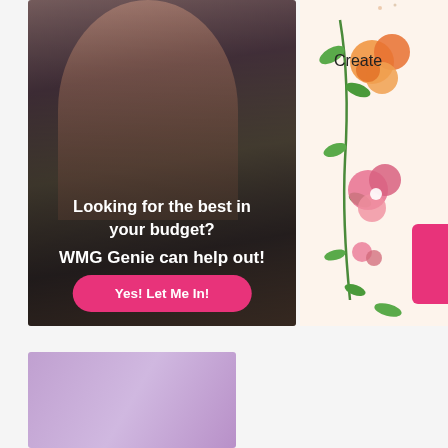[Figure (photo): Indian bridal portrait photo with overlay text 'Looking for the best in your budget? WMG Genie can help out!' and a pink call-to-action button 'Yes! Let Me In!']
Looking for the best in your budget?
WMG Genie can help out!
Yes! Let Me In!
[Figure (illustration): Floral decorative panel with pink and orange flowers on cream background, partial text 'Create' visible at top right]
Create
[Figure (photo): Partial photo visible at bottom of page, appears to show soft purple/lavender tones]